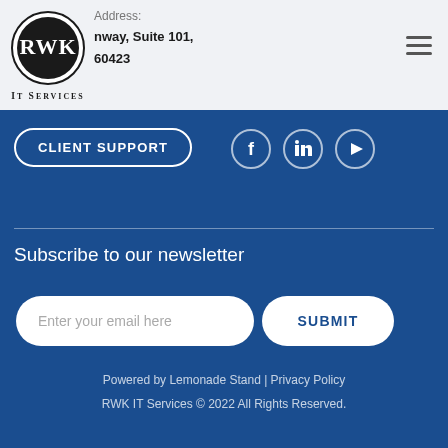Address: nway, Suite 101, 60423
[Figure (logo): RWK IT Services logo — circular emblem with RWK letters and IT Services text below]
CLIENT SUPPORT
[Figure (infographic): Social media icons: Facebook, LinkedIn, YouTube — white circle outlines]
Subscribe to our newsletter
Enter your email here
SUBMIT
Powered by Lemonade Stand | Privacy Policy
RWK IT Services © 2022 All Rights Reserved.